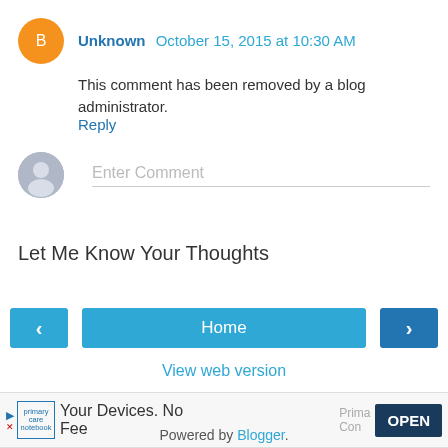Unknown October 15, 2015 at 10:30 AM
This comment has been removed by a blog administrator.
Reply
Enter Comment
Let Me Know Your Thoughts
Home
View web version
[Figure (screenshot): Ad banner: Your Devices. No Fee. Prima... Com... OPEN button]
Powered by Blogger.